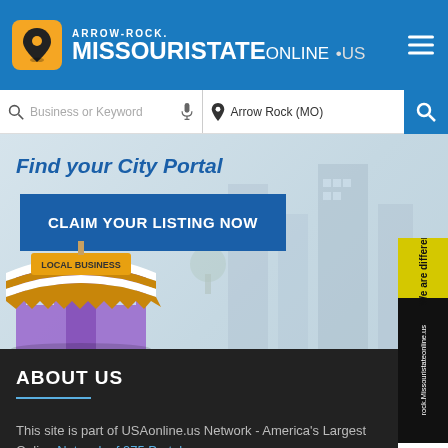ARROW-ROCK. MISSOURISTATEONLINE .us
Business or Keyword | Arrow Rock (MO)
Find your City Portal
CLAIM YOUR LISTING NOW
[Figure (illustration): Local business store front illustration with awning, and city background]
We are different rock.Missouristateonline.us
ABOUT US
This site is part of USAonline.us Network - America's Largest Online Network of 975 Portals.
READ MORE ABOUT ARROW-ROCK.MISSOURISTATEONLINE.